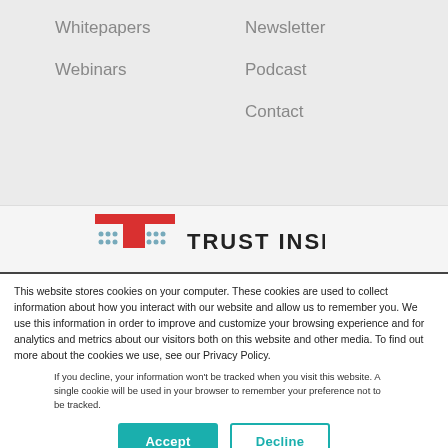Whitepapers
Webinars
Newsletter
Podcast
Contact
[Figure (logo): Trust Insights logo with red T-shaped icon and bold text TRUST INSIGHTS]
This website stores cookies on your computer. These cookies are used to collect information about how you interact with our website and allow us to remember you. We use this information in order to improve and customize your browsing experience and for analytics and metrics about our visitors both on this website and other media. To find out more about the cookies we use, see our Privacy Policy.
If you decline, your information won't be tracked when you visit this website. A single cookie will be used in your browser to remember your preference not to be tracked.
Accept
Decline